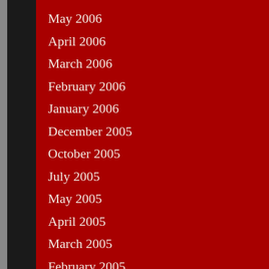May 2006
April 2006
March 2006
February 2006
January 2006
December 2005
October 2005
July 2005
May 2005
April 2005
March 2005
February 2005
January 2005